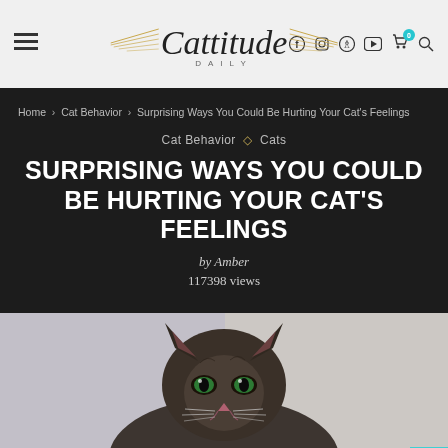Cattitude Daily — navigation header with hamburger menu, logo, and social/cart icons
Home > Cat Behavior > Surprising Ways You Could Be Hurting Your Cat's Feelings
Cat Behavior ◇ Cats
SURPRISING WAYS YOU COULD BE HURTING YOUR CAT'S FEELINGS
by Amber
117398 views
[Figure (photo): A long-haired tabby cat with green eyes looking at the camera, photographed against a light background]